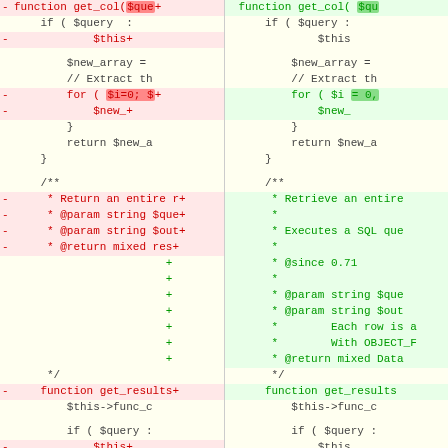[Figure (screenshot): Side-by-side code diff view showing PHP function changes. Left side shows removed lines (red) and right side shows added lines (green). Code includes get_col() and get_results() functions with diff markers.]